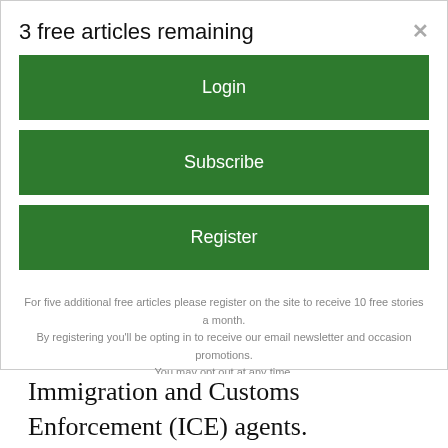3 free articles remaining
Login
Subscribe
Register
For five additional free articles please register on the site to receive 10 free stories a month. By registering you'll be opting in to receive our email newsletter and occasion promotions. You may opt out at any time.
Immigration and Customs Enforcement (ICE) agents.
Nor was there any shortage of new